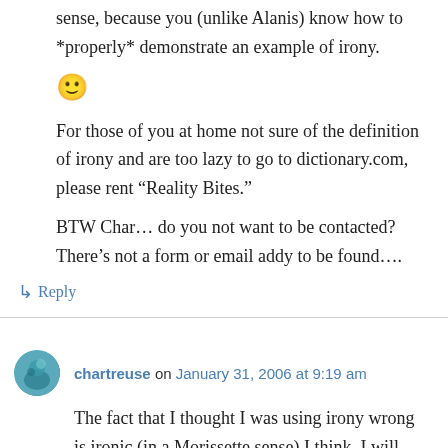sense, because you (unlike Alanis) know how to *properly* demonstrate an example of irony.
🙂
For those of you at home not sure of the definition of irony and are too lazy to go to dictionary.com, please rent “Reality Bites.”
BTW Char… do you not want to be contacted? There’s not a form or email addy to be found….
↳ Reply
chartreuse on January 31, 2006 at 9:19 am
The fact that I thought I was using irony wrong is ironic (in a Morissette sense),I think. I will have